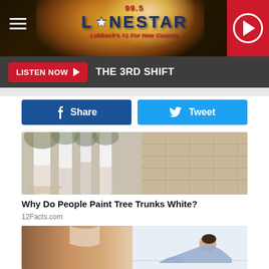99.5 LONESTAR — Lubbock's #1 For New Country
LISTEN NOW ▶  THE 3RD SHIFT
[Figure (other): Facebook Share button and Twitter Tweet button]
[Figure (photo): Photo of white-painted tree trunks on a stone pathway]
Why Do People Paint Tree Trunks White?
12Facts.com
[Figure (photo): Photo of a woman in a sports bra and another woman doing sit-ups]